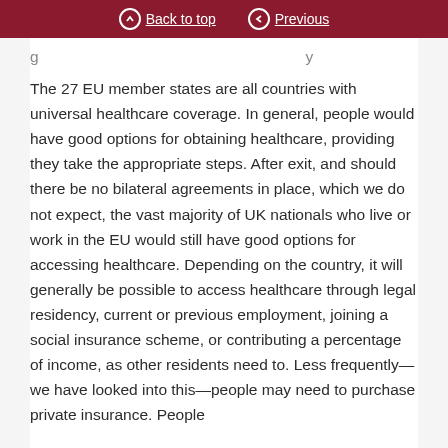Back to top   Previous
The 27 EU member states are all countries with universal healthcare coverage. In general, people would have good options for obtaining healthcare, providing they take the appropriate steps. After exit, and should there be no bilateral agreements in place, which we do not expect, the vast majority of UK nationals who live or work in the EU would still have good options for accessing healthcare. Depending on the country, it will generally be possible to access healthcare through legal residency, current or previous employment, joining a social insurance scheme, or contributing a percentage of income, as other residents need to. Less frequently—we have looked into this—people may need to purchase private insurance. People